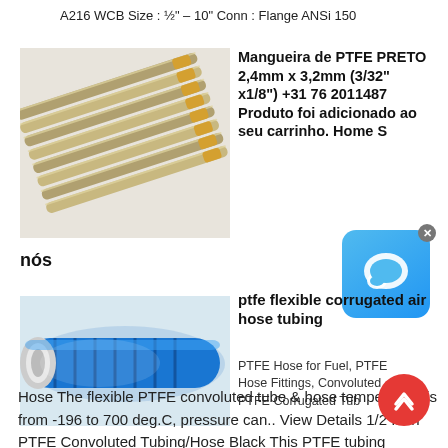A216 WCB Size : ½" – 10" Conn : Flange ANSi 150
[Figure (photo): Bundle of metallic rods/tubes with gold-colored fittings at one end]
Mangueira de PTFE PRETO 2,4mm x 3,2mm (3/32" x1/8") +31 76 2011487 Produto foi adicionado ao seu carrinho. Home S
nós
[Figure (photo): Blue corrugated flexible hose with white end]
ptfe flexible corrugated air hose tubing
PTFE Hose for Fuel, PTFE Hose Fittings, Convoluted ... PTFE Corrugated Tub
Hose The flexible PTFE convoluted tube & hose temperature is from -196 to 700 deg.C, pressure can.. View Details 1/2 Inch PTFE Convoluted Tubing/Hose Black This PTFE tubing